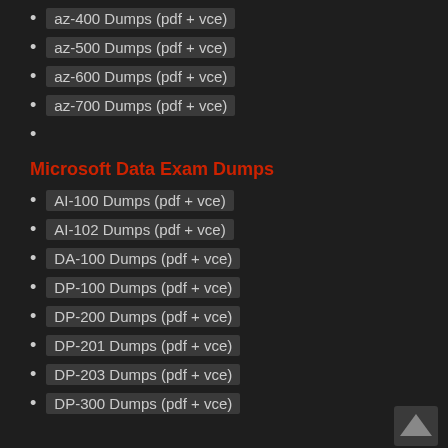az-400 Dumps (pdf + vce)
az-500 Dumps (pdf + vce)
az-600 Dumps (pdf + vce)
az-700 Dumps (pdf + vce)
Microsoft Data Exam Dumps
AI-100 Dumps (pdf + vce)
AI-102 Dumps (pdf + vce)
DA-100 Dumps (pdf + vce)
DP-100 Dumps (pdf + vce)
DP-200 Dumps (pdf + vce)
DP-201 Dumps (pdf + vce)
DP-203 Dumps (pdf + vce)
DP-300 Dumps (pdf + vce)